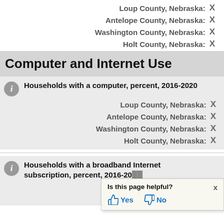Loup County, Nebraska: X
Antelope County, Nebraska: X
Washington County, Nebraska: X
Holt County, Nebraska: X
Computer and Internet Use
Households with a computer, percent, 2016-2020
Loup County, Nebraska: X
Antelope County, Nebraska: X
Washington County, Nebraska: X
Holt County, Nebraska: X
Households with a broadband Internet subscription, percent, 2016-2020
Loup County, Nebraska: X
Antelope County, Nebraska: X
Is this page helpful? Yes No